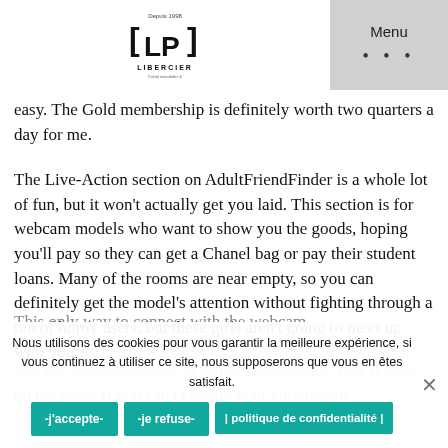Libercier logo and Menu navigation
easy. The Gold membership is definitely worth two quarters a day for me.
The Live-Action section on AdultFriendFinder is a whole lot of fun, but it won't actually get you laid. This section is for webcam models who want to show you the goods, hoping you'll pay so they can get a Chanel bag or pay their student loans. Many of the rooms are near empty, so you can definitely get the model's attention without fighting through a ton of horny users, but these girls aren't going to meet up with you.
The only way to connect with the webcam models in person is by following their social media pages that the Account outside of AdultFriendFinder. This is easy on the page. If you can't contain your enthusiasm
Nous utilisons des cookies pour vous garantir la meilleure expérience, si vous continuez à utiliser ce site, nous supposerons que vous en êtes satisfait.
-j'accepte-
-je refuse-
| politique de confidentialité |